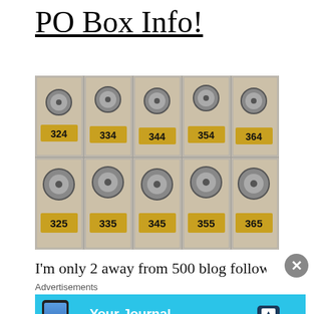PO Box Info!
[Figure (photo): A grid of vintage brass-numbered PO boxes showing numbers 324, 334, 344, 354, 364 on the top row and 325, 335, 345, 355, 365 on the bottom row, with combination lock dials and ornate metal door panels.]
I'm only 2 away from 500 blog followers! That is so
Advertisements
[Figure (infographic): Day One app advertisement: 'Your Journal for life' on a cyan/blue background with a phone mockup on the left and the Day One logo on the right.]